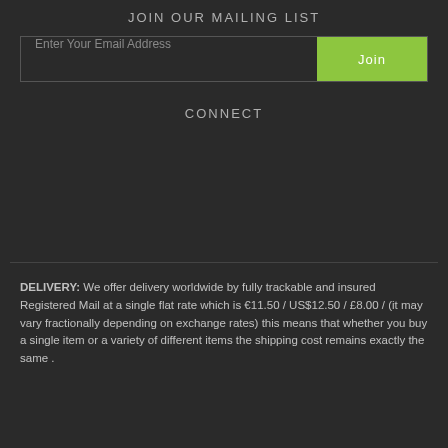JOIN OUR MAILING LIST
Enter Your Email Address
CONNECT
DELIVERY: We offer delivery worldwide by fully trackable and insured Registered Mail at a single flat rate which is €11.50 / US$12.50 / £8.00 / (it may vary fractionally depending on exchange rates) this means that whether you buy a single item or a variety of different items the shipping cost remains exactly the same .